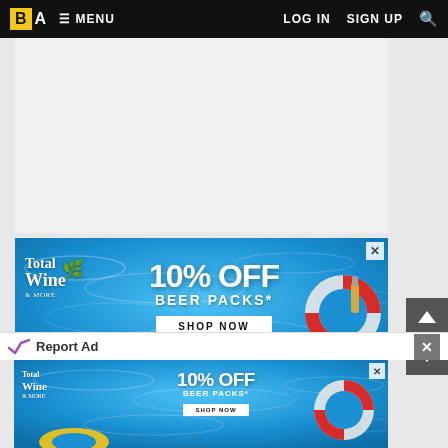BA  MENU  LOG IN  SIGN UP
[Figure (illustration): Light gray placeholder/content area below the navigation bar]
[Figure (photo): Total Wine & More advertisement banner with pool water background, showing 10% OFF BEER PACKS* with SHOP NOW button and *Exclusions Apply text. Red and white life ring and beer bottle visible on right. Yellow pool floats on bottom left.]
Report Ad
[Figure (photo): Smaller Total Wine & More advertisement banner with similar pool water background, showing 10% OFF BEER PACKS* with SHOP NOW button.]